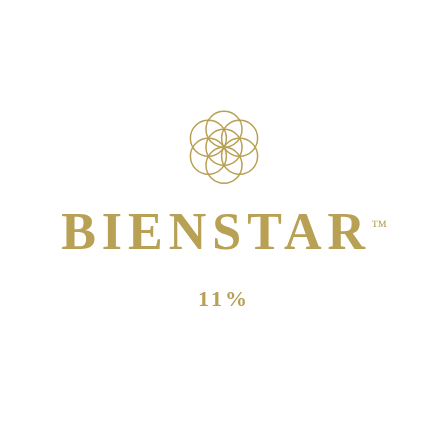[Figure (logo): Bienstar logo: a gold floral/circular ornament consisting of overlapping circles arranged in a flower pattern, above the brand name BIENSTAR in gold serif capitals with TM superscript, and 11% below in gold serif text]
BIENSTAR™
11%